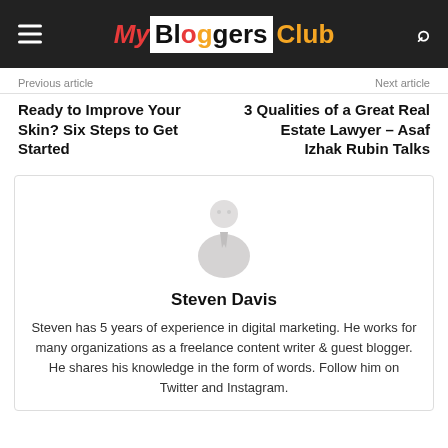My Bloggers Club
Previous article
Next article
Ready to Improve Your Skin? Six Steps to Get Started
3 Qualities of a Great Real Estate Lawyer – Asaf Izhak Rubin Talks
[Figure (photo): Faded/ghost silhouette photo of Steven Davis, a man in a suit]
Steven Davis
Steven has 5 years of experience in digital marketing. He works for many organizations as a freelance content writer & guest blogger. He shares his knowledge in the form of words. Follow him on Twitter and Instagram.